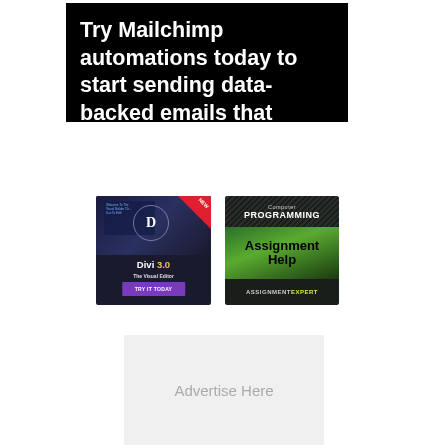[Figure (screenshot): Mailchimp advertisement banner with black background and white bold text reading: Try Mailchimp automations today to start sending data-backed emails that speak to your customers' interests.]
[Figure (screenshot): Divi 3.0 advertisement: dark background with circle D logo, NEW badge in red corner, yellow version number, purple TRY IT TODAY button]
[Figure (screenshot): AssignmentExpert computer programming assignment help advertisement with dark background, green gradient body, and yellow EXPERT text]
[Figure (other): Grey placeholder box with 'Advertise Here' text in light grey]